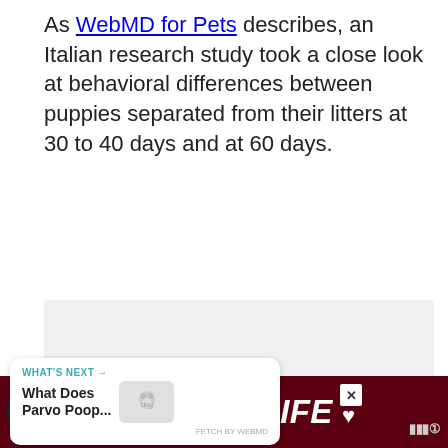As WebMD for Pets describes, an Italian research study took a close look at behavioral differences between puppies separated from their litters at 30 to 40 days and at 60 days.
[Figure (photo): Image placeholder area (light gray) with social interaction buttons: a heart/like button (blue circle), like count showing 4, a share button, and three pagination dots.]
[Figure (infographic): WHAT'S NEXT callout card: 'What Does Parvo Poop...' with a thumbnail image and a dog icon logo.]
[Figure (infographic): Advertisement banner at bottom: dark red/maroon background with a black dog image and bold white italic text 'CHANGE A LIFE' with a heart icon, close X button, and a logo on the right.]